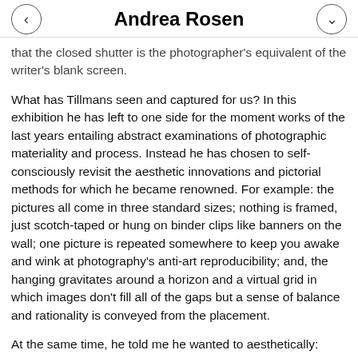Andrea Rosen
that the closed shutter is the photographer's equivalent of the writer's blank screen.
What has Tillmans seen and captured for us? In this exhibition he has left to one side for the moment works of the last years entailing abstract examinations of photographic materiality and process. Instead he has chosen to self-consciously revisit the aesthetic innovations and pictorial methods for which he became renowned. For example: the pictures all come in three standard sizes; nothing is framed, just scotch-taped or hung on binder clips like banners on the wall; one picture is repeated somewhere to keep you awake and wink at photography's anti-art reproducibility; and, the hanging gravitates around a horizon and a virtual grid in which images don't fill all of the gaps but a sense of balance and rationality is conveyed from the placement.
At the same time, he told me he wanted to aesthetically: "move the goal posts a little". Aside from changes in subject matter there is a 'newness' in these pictures, which involves working with the benefit of hindsight in order to allow steps forward. There is self-quotation with twists and developments. A few images of clothes and fabric